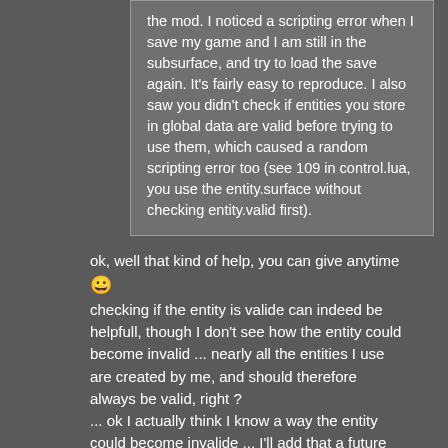the mod. I noticed a scripting error when I save my game and I am still in the subsurface, and try to load the save again. It's fairly easy to reproduce. I also saw you didn't check if entities you store in global data are valid before trying to use them, which caused a random scripting error too (see 109 in control.lua, you use the entity.surface without checking entity.valid first).
ok, well that kind of help, you can give anytime 😀 checking if the entity is valide can indeed be helpfull, though I don't see how the entity could become invalid ... nearly all the entities I use are created by me, and should therefore always be valid, right ? ... ok I actually think I know a way the entity could become invalide ... I'll add that a future update (not the next one, it's pretty close right now, wouldn't delay it further)
[Figure (photo): User avatar placeholder image]
Afforess
Filter Inserter
[Figure (illustration): User badge/rank icon with purple decorative element]
Re: [WIP][Mod 0.12.last] Subsurfaces : build beneath